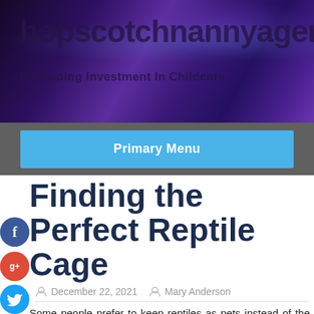hopscotchnannyagenc...
Reshaping Investment In Childcare
Primary Menu
Finding the Perfect Reptile Cage
December 22, 2021   Mary Anderson
Some people prefer to keep reptiles as pets instead of the more traditional dogs or cats. If you prefer to keep exotic animals, such as reptiles, for your pet, choosing the right cage for them is